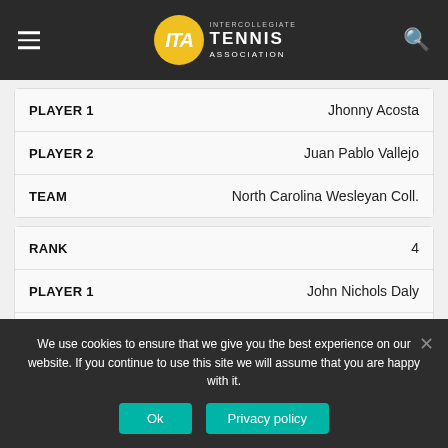ITA – Intercollegiate Tennis Association
| Field | Value |
| --- | --- |
| PLAYER 1 | Jhonny Acosta |
| PLAYER 2 | Juan Pablo Vallejo |
| TEAM | North Carolina Wesleyan Coll. |
| Field | Value |
| --- | --- |
| RANK | 4 |
| PLAYER 1 | John Nichols Daly |
| PLAYER 2 | Grant Dill |
| TEAM | Swarthmore College |
We use cookies to ensure that we give you the best experience on our website. If you continue to use this site we will assume that you are happy with it.